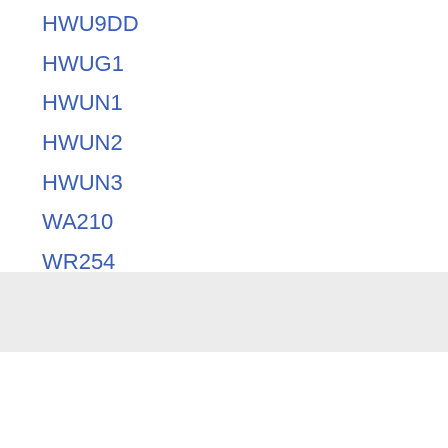HWU9DD
HWUG1
HWUN1
HWUN2
HWUN3
WA210
WR254